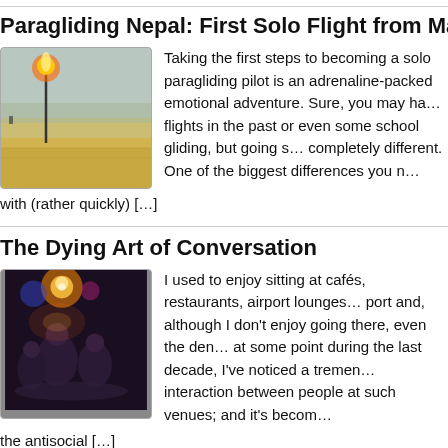Paragliding Nepal: First Solo Flight from Madredung
[Figure (photo): Landscape photo showing a field with a bright flare/flame on a pole, yellow/brown grass and hazy background]
Taking the first steps to becoming a solo paragliding pilot is an adrenaline-packed emotional adventure. Sure, you may have had some flights in the past or even some school gliding, but going solo is completely different. One of the biggest differences you need to deal with (rather quickly) […]
The Dying Art of Conversation
[Figure (photo): Dark photo of people at what appears to be a bar or lounge with colorful lights overhead]
I used to enjoy sitting at cafés, restaurants, airport lounges, port and, although I don't enjoy going there, even the den at some point during the last decade, I've noticed a tremendous interaction between people at such venues; and it's become the antisocial […]